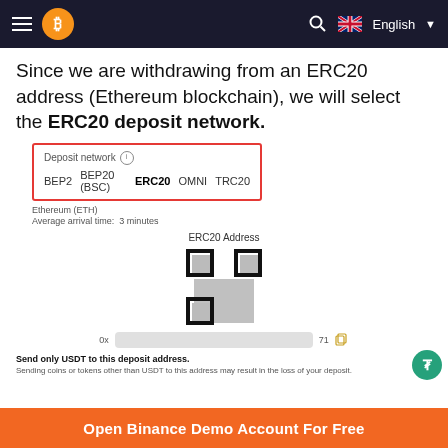Binance — English
Since we are withdrawing from an ERC20 address (Ethereum blockchain), we will select the ERC20 deposit network.
[Figure (screenshot): Deposit network selector UI with a red border highlight. Options: BEP2, BEP20 (BSC), ERC20 (selected/bold), OMNI, TRC20. Below: Ethereum (ETH), Average arrival time: 3 minutes. ERC20 Address label with a QR code (partially obscured) and an Ethereum address bar starting with 0x... and ending in 71, with a copy icon.]
Send only USDT to this deposit address. Sending coins or tokens other than USDT to this address may result in the loss of your deposit.
Open Binance Demo Account For Free